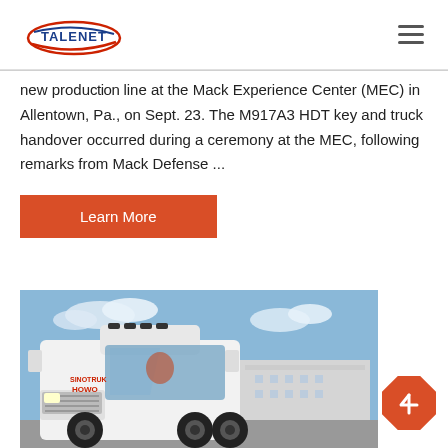[Figure (logo): Talenet logo with red oval and blue text]
new production line at the Mack Experience Center (MEC) in Allentown, Pa., on Sept. 23. The M917A3 HDT key and truck handover occurred during a ceremony at the MEC, following remarks from Mack Defense ...
Learn More
[Figure (photo): White heavy-duty truck cab (HOWO) photographed outdoors in front of industrial buildings under a blue sky]